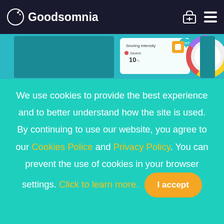Goodsomnia
[Figure (screenshot): App screenshot strip showing Goodsomnia sleep tracker app with snoring intensity panel and circular timer UI]
We use cookies to provide the best experience and to better understand how the site is used. By continuing to use our website, you agree to our Cookies Police and Privacy Policy. You can prevent the use of cookies in your browser settings. Click to learn more.
I accept